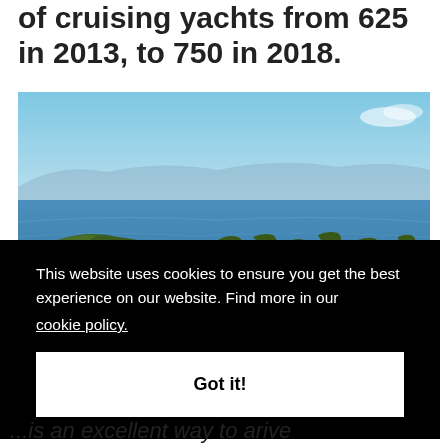of cruising yachts from 625 in 2013, to 750 in 2018.
[Figure (photo): Aerial view of islands and rocky outcrops scattered across calm blue ocean water, with green vegetated hills in the foreground and mountains in the background under a clear blue sky.]
This website uses cookies to ensure you get the best experience on our website. Find more in our cookie policy.
Got it!
...is an excellent way to arrive